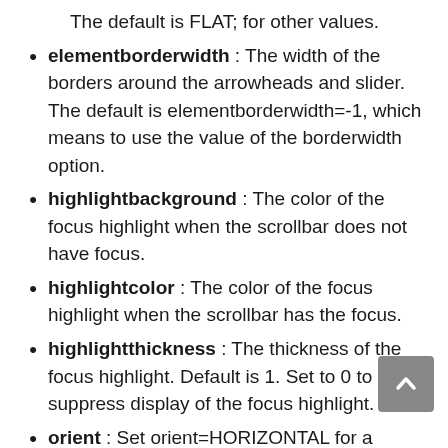The default is FLAT; for other values.
elementborderwidth : The width of the borders around the arrowheads and slider. The default is elementborderwidth=-1, which means to use the value of the borderwidth option.
highlightbackground : The color of the focus highlight when the scrollbar does not have focus.
highlightcolor : The color of the focus highlight when the scrollbar has the focus.
highlightthickness : The thickness of the focus highlight. Default is 1. Set to 0 to suppress display of the focus highlight.
orient : Set orient=HORIZONTAL for a